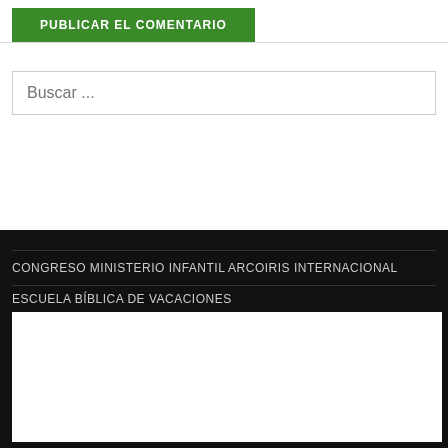[Figure (screenshot): Green button labeled PUBLICAR EL COMENTARIO]
Buscar ...
CONGRESO MINISTERIO INFANTIL ARCOIRIS INTERNACIONAL
ESCUELA BÍBLICA DE VACACIONES
[Figure (screenshot): White embedded content box]
FANPAGES